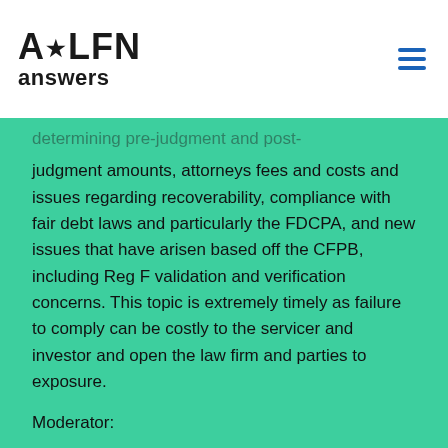ALFN answers
determining pre-judgment and post-judgment amounts, attorneys fees and costs and issues regarding recoverability, compliance with fair debt laws and particularly the FDCPA, and new issues that have arisen based off the CFPB, including Reg F validation and verification concerns. This topic is extremely timely as failure to comply can be costly to the servicer and investor and open the law firm and parties to exposure.
Moderator: